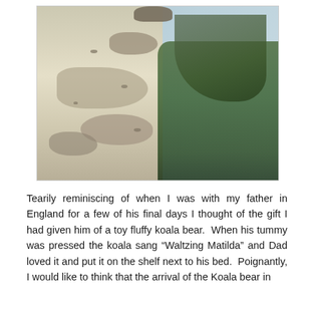[Figure (photo): A photograph taken from below looking up at a large eucalyptus tree trunk with mottled bark patches in cream and grey tones. On the right side, branches spread out against a light blue sky with green eucalyptus leaves. A koala can be seen at the top of the trunk.]
Tearily reminiscing of when I was with my father in England for a few of his final days I thought of the gift I had given him of a toy fluffy koala bear. When his tummy was pressed the koala sang “Waltzing Matilda” and Dad loved it and put it on the shelf next to his bed. Poignantly, I would like to think that the arrival of the Koala bear in